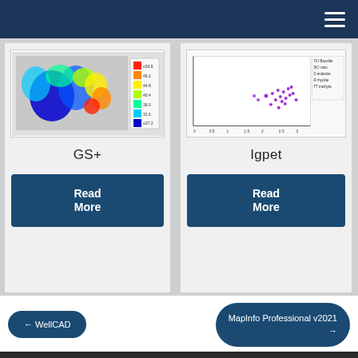Navigation bar with hamburger menu
[Figure (screenshot): GS+ geostatistical software screenshot showing a colour contour/heatmap with rainbow colour scale and legend]
GS+
Read More
[Figure (scatter-plot): Igpet software screenshot showing a scatter plot with purple data points and legend]
Igpet
Read More
← WellCAD
MapInfo Professional v2021 →